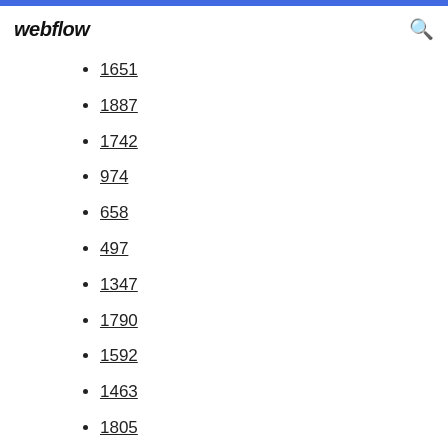webflow
1651
1887
1742
974
658
497
1347
1790
1592
1463
1805
721